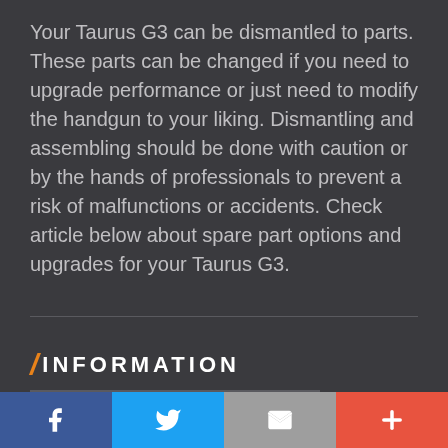Your Taurus G3 can be dismantled to parts. These parts can be changed if you need to upgrade performance or just need to modify the handgun to your liking. Dismantling and assembling should be done with caution or by the hands of professionals to prevent a risk of malfunctions or accidents. Check article below about spare part options and upgrades for your Taurus G3.
/ INFORMATION
f  [twitter bird]  [mail]  +